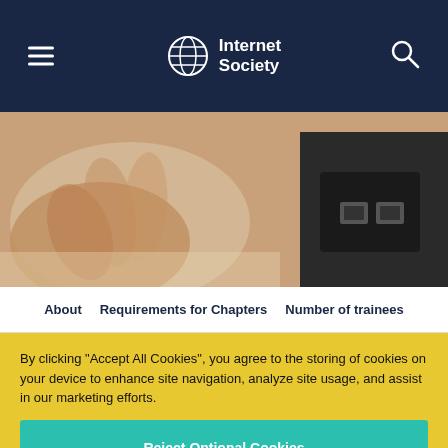Internet Society
[Figure (photo): Close-up photo of a hand near network equipment/ethernet device on a desk]
About   Requirements for Chapters   Number of trainees
By clicking “Accept All Cookies”, you agree to the storing of cookies on your device to enhance site navigation, analyze site usage, and assist in our marketing efforts.
Cookies Settings
Reject Optional Cookies
Accept All Cookies